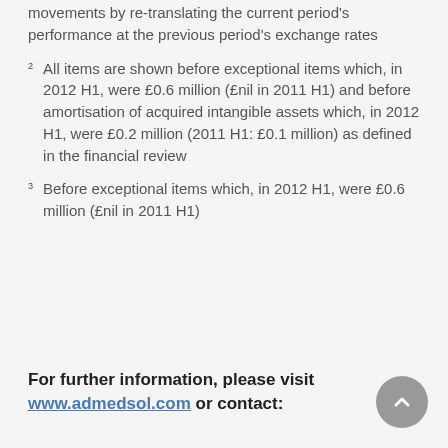Constant currency removes the effect of currency movements by re-translating the current period's performance at the previous period's exchange rates
2  All items are shown before exceptional items which, in 2012 H1, were £0.6 million (£nil in 2011 H1) and before amortisation of acquired intangible assets which, in 2012 H1, were £0.2 million (2011 H1: £0.1 million) as defined in the financial review
3  Before exceptional items which, in 2012 H1, were £0.6 million (£nil in 2011 H1)
For further information, please visit www.admedsol.com or contact: